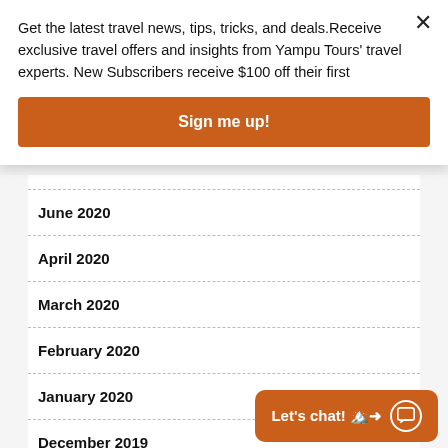Get the latest travel news, tips, tricks, and deals.Receive exclusive travel offers and insights from Yampu Tours' travel experts. New Subscribers receive $100 off their first
Sign me up!
June 2020
April 2020
March 2020
February 2020
January 2020
December 2019
November 2019
Let's chat!